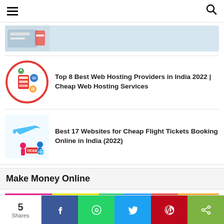Navigation header with hamburger menu and search icon
[Figure (photo): Partial image of a laptop/credit card, cropped at top]
[Figure (illustration): Web Hosting circular badge icon with server and tech elements, red circle border]
Top 8 Best Web Hosting Providers in India 2022 | Cheap Web Hosting Services
[Figure (illustration): Cheap flight ticket booking illustration with airplane and people holding TICKET sign]
Best 17 Websites for Cheap Flight Tickets Booking Online in India (2022)
Make Money Online
[Figure (infographic): Colorful horizontal bar with multiple color segments]
5 Shares - Share bar with Facebook, WhatsApp, Twitter, Pinterest, and Share buttons